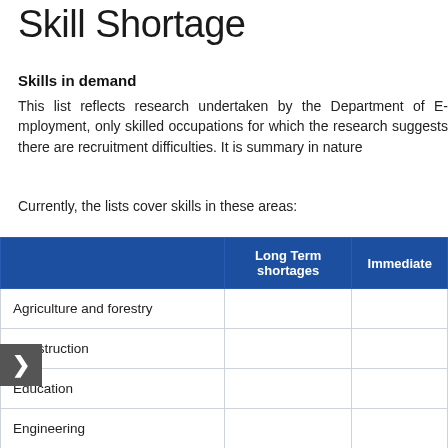Skill Shortage
Skills in demand
This list reflects research undertaken by the Department of E[mployment,] only skilled occupations for which the research suggests there [are recruitment] difficulties. It is summary in nature
Currently, the lists cover skills in these areas:
|  | Long Term shortages | Immediate |
| --- | --- | --- |
| Agriculture and forestry |  |  |
| Construction |  |  |
| Education |  |  |
| Engineering |  |  |
| Finance/business |  |  |
| Health and ... |  |  |